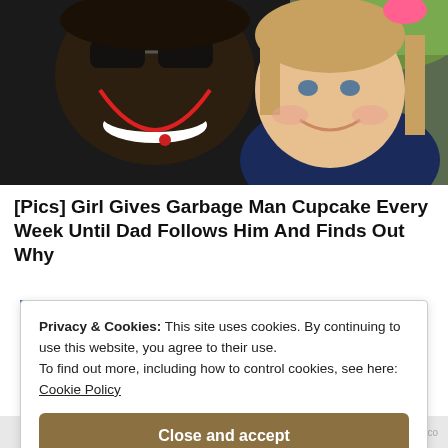[Figure (photo): A smiling man with dreadlocks and sunglasses posing cheek-to-cheek with a young blonde girl wearing a pink bow, outdoors with green grass visible in background.]
[Pics] Girl Gives Garbage Man Cupcake Every Week Until Dad Follows Him And Finds Out Why
Privacy & Cookies: This site uses cookies. By continuing to use this website, you agree to their use.
To find out more, including how to control cookies, see here:
Cookie Policy
Close and accept